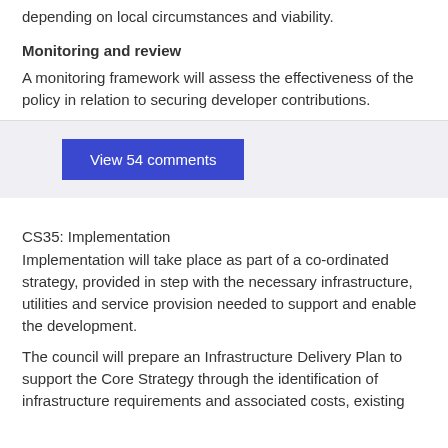depending on local circumstances and viability.
Monitoring and review
A monitoring framework will assess the effectiveness of the policy in relation to securing developer contributions.
View 54 comments
CS35: Implementation
Implementation will take place as part of a co-ordinated strategy, provided in step with the necessary infrastructure, utilities and service provision needed to support and enable the development.
The council will prepare an Infrastructure Delivery Plan to support the Core Strategy through the identification of infrastructure requirements and associated costs, existing